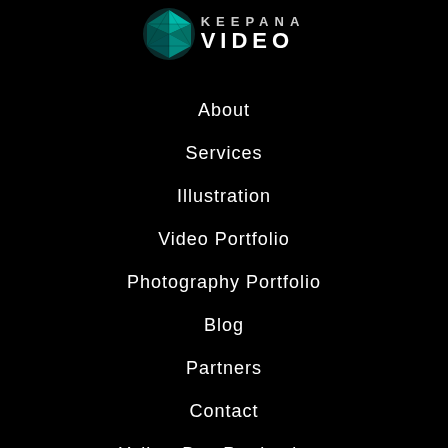[Figure (logo): Circular teal/green geometric logo with triangular facets, next to text reading 'KEEPANA VIDEO' in white uppercase letters]
About
Services
Illustration
Video Portfolio
Photography Portfolio
Blog
Partners
Contact
Yellow Bug Productions